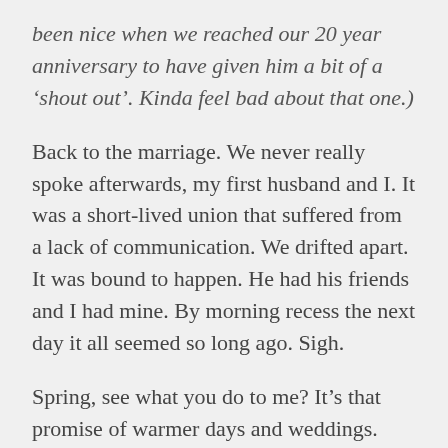been nice when we reached our 20 year anniversary to have given him a bit of a 'shout out'. Kinda feel bad about that one.)
Back to the marriage. We never really spoke afterwards, my first husband and I. It was a short-lived union that suffered from a lack of communication. We drifted apart. It was bound to happen. He had his friends and I had mine. By morning recess the next day it all seemed so long ago. Sigh.
Spring, see what you do to me? It's that promise of warmer days and weddings. Love and lovebirds.